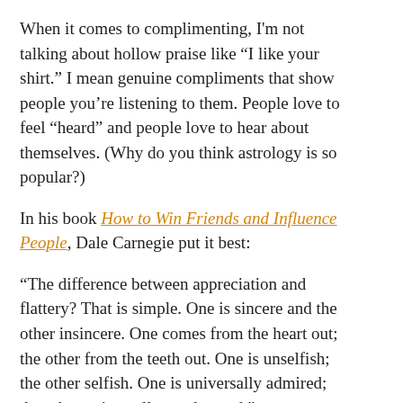When it comes to complimenting, I'm not talking about hollow praise like “I like your shirt.” I mean genuine compliments that show people you’re listening to them. People love to feel “heard” and people love to hear about themselves. (Why do you think astrology is so popular?)
In his book How to Win Friends and Influence People, Dale Carnegie put it best:
“The difference between appreciation and flattery? That is simple. One is sincere and the other insincere. One comes from the heart out; the other from the teeth out. One is unselfish; the other selfish. One is universally admired; the other universally condemned.”
People aren’t stupid. They know a weak compliment (or “flattery” as Carnegie called it) when they hear it.